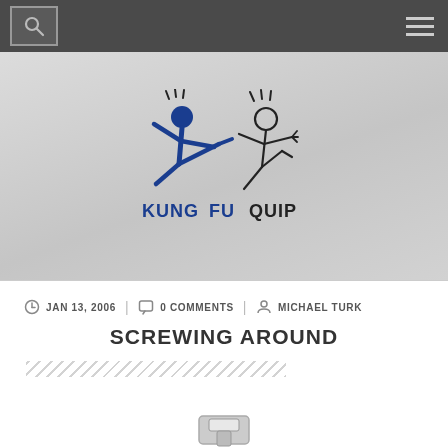Kung Fu Quip — navigation bar with search and menu
[Figure (logo): Kung Fu Quip logo: two stick figures in a martial arts kick pose, one blue solid figure kicking a white outline figure, with text KUNG FU QUIP below in blue and black lettering]
JAN 13, 2006  |  0 COMMENTS  |  MICHAEL TURK
SCREWING AROUND
[Figure (photo): Partial view of what appears to be a metallic or silver object at the bottom of the page, cropped]